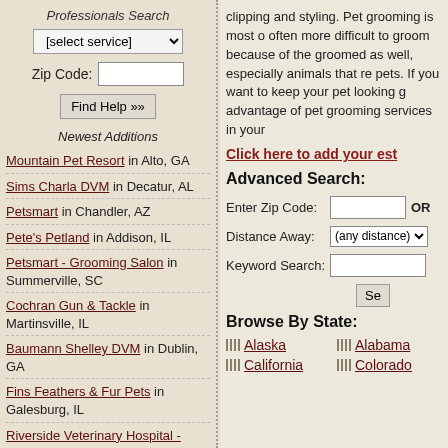Professionals Search
[select service]
Zip Code:
Find Help »»
Newest Additions
Mountain Pet Resort in Alto, GA
Sims Charla DVM in Decatur, AL
Petsmart in Chandler, AZ
Pete's Petland in Addison, IL
Petsmart - Grooming Salon in Summerville, SC
Cochran Gun & Tackle in Martinsville, IL
Baumann Shelley DVM in Dublin, GA
Fins Feathers & Fur Pets in Galesburg, IL
Riverside Veterinary Hospital - Bryan E Rodgers DVM in Rocky Mount, NC
clipping and styling. Pet grooming is most often more difficult to groom because of the groomed as well, especially animals that re pets. If you want to keep your pet looking g advantage of pet grooming services in your
Click here to add your est
Advanced Search:
Enter Zip Code: OR
Distance Away: (any distance)
Keyword Search:
Se
Browse By State:
Alaska
Alabama
California
Colorado